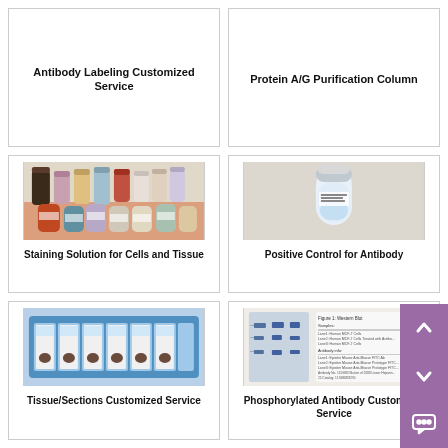Antibody Labeling Customized Service
Protein A/G Purification Column
[Figure (photo): Multiple bottles and vials of staining solutions in various colors]
Staining Solution for Cells and Tissue
[Figure (photo): A single vial/tube of positive control for antibody]
Positive Control for Antibody
[Figure (photo): Tissue sections slides in a blue plastic tray/box]
Tissue/Sections Customized Service
[Figure (photo): Western blot image with bands and a text figure legend]
Phosphorylated Antibody Customized Service